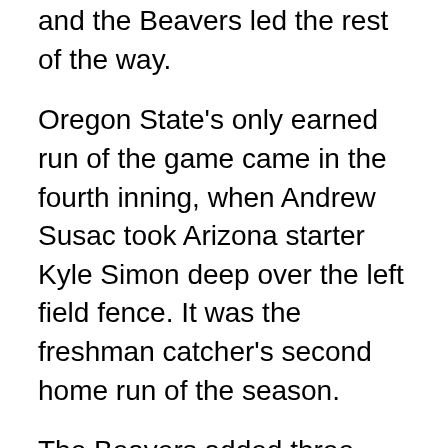and the Beavers led the rest of the way.
Oregon State's only earned run of the game came in the fourth inning, when Andrew Susac took Arizona starter Kyle Simon deep over the left field fence. It was the freshman catcher's second home run of the season.
The Beavers added three insurance runs in the ninth inning, all of them unearned. Adalberto Santos walked to lead off the inning and was bunted over to second, and the inning seemed to be coming to an end once Folsom flew out to center for the second out. However, Susac kept the Beavers alive with a walk and Tyler Smith drove in a run when his slow roller got under the glove of Arizona shortstop Alex Mejia. Keith Jennette then beat out a slow roller in the infield, and Carter Bell drove in two with a blown in batted after...